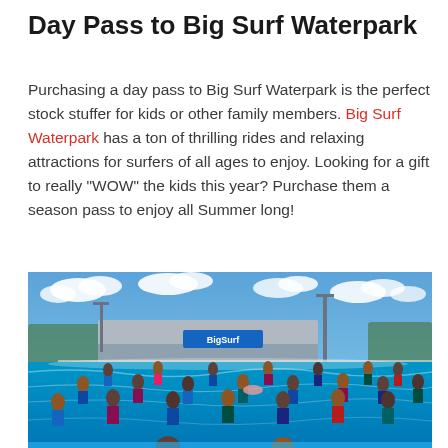Day Pass to Big Surf Waterpark
Purchasing a day pass to Big Surf Waterpark is the perfect stock stuffer for kids or other family members. Big Surf Waterpark has a ton of thrilling rides and relaxing attractions for surfers of all ages to enjoy. Looking for a gift to really "WOW" the kids this year? Purchase them a season pass to enjoy all Summer long!
[Figure (photo): Outdoor wave pool at Big Surf Waterpark with many people swimming and wading in bright blue water, a building with 'Big Surf' signage in the background, light poles, trees, and a partly cloudy blue sky.]